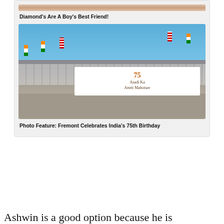[Figure (photo): Partial photo of people at top of card, cropped]
Diamond's Are A Boy's Best Friend!
[Figure (photo): Crowd of people marching in a parade holding Indian and American flags, with a banner reading '75 Azadi Ka Amrit Mahotsav']
Photo Feature: Fremont Celebrates India's 75th Birthday
Ashwin is a good option because he is